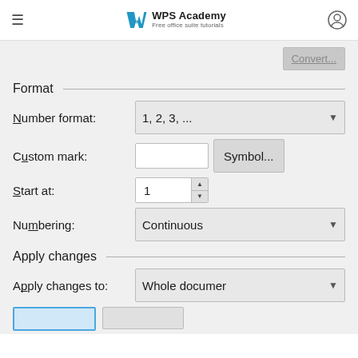WPS Academy — Free office suite tutorials
[Figure (screenshot): WPS Academy logo with blue W icon and tagline 'Free office suite tutorials']
Format
Number format: 1, 2, 3, ...
Custom mark: [text input] Symbol...
Start at: 1
Numbering: Continuous
Apply changes
Apply changes to: Whole document